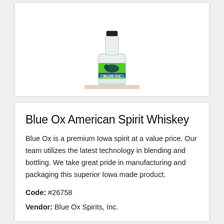[Figure (photo): A small glass bottle of Blue Ox American Spirit Whiskey with a bright green label featuring a dark blue ox silhouette and the text 'BLUE OX', sitting on a wooden surface.]
Blue Ox American Spirit Whiskey
Blue Ox is a premium Iowa spirit at a value price. Our team utilizes the latest technology in blending and bottling. We take great pride in manufacturing and packaging this superior Iowa made product.
Code: #26758
Vendor: Blue Ox Spirits, Inc.